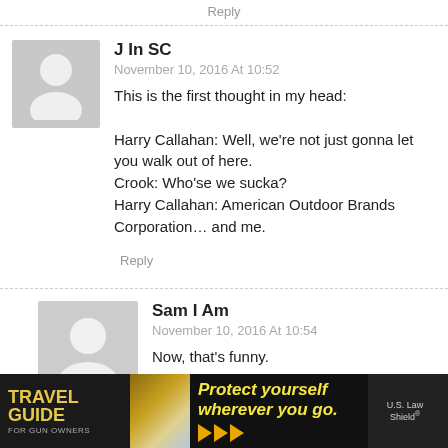Reply
J In SC
November 10, 2016 At 10:52
This is the first thought in my head:

Harry Callahan: Well, we're not just gonna let you walk out of here.
Crook: Who'se we sucka?
Harry Callahan: American Outdoor Brands Corporation… and me.
Reply
Sam I Am
November 10, 2016 At 10:54
Now, that's funny.
[Figure (infographic): Travel Guide For Gun Owners advertisement banner with text 'Protect yourself wherever you go.' and US LawShield logo with orange arrows]